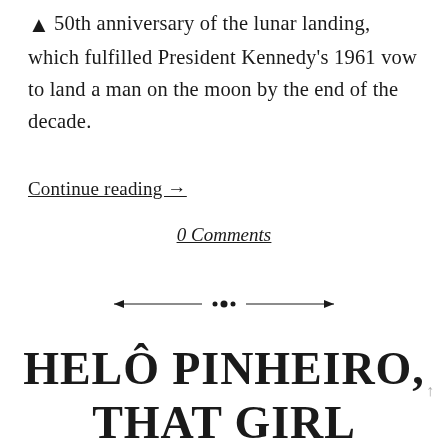↑ 50th anniversary of the lunar landing, which fulfilled President Kennedy's 1961 vow to land a man on the moon by the end of the decade.
Continue reading →
0 Comments
[Figure (illustration): Decorative horizontal divider with ornamental dots in the center and tapered lines extending to each side]
HELÔ PINHEIRO, THAT GIRL FROM